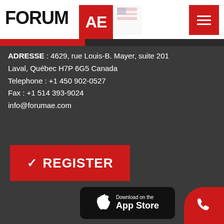[Figure (logo): Forum AE logo with red AE box and hamburger menu button on white header bar]
ADRESSE : 4629, rue Louis-B. Mayer, suite 201
Laval, Québec H7P 6G5 Canada
Telephone : +1 450 902-0527
Fax : +1 514 393-9024
info@forumae.com
[Figure (infographic): Red REGISTER button with checkmark]
[Figure (infographic): Download on the App Store button (black rounded rectangle with Apple logo)]
[Figure (infographic): Red phone button (bottom right corner, rounded)]